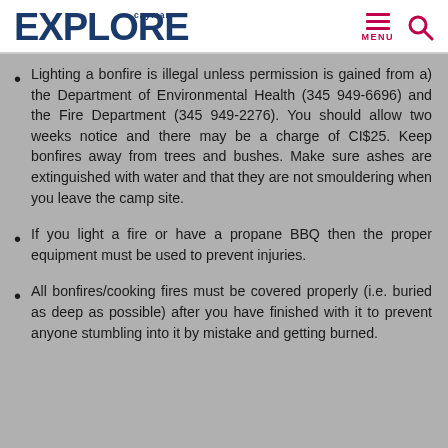EXPLORE cayman — MENU (navigation icons)
Lighting a bonfire is illegal unless permission is gained from a) the Department of Environmental Health (345 949-6696) and the Fire Department (345 949-2276). You should allow two weeks notice and there may be a charge of CI$25. Keep bonfires away from trees and bushes. Make sure ashes are extinguished with water and that they are not smouldering when you leave the camp site.
If you light a fire or have a propane BBQ then the proper equipment must be used to prevent injuries.
All bonfires/cooking fires must be covered properly (i.e. buried as deep as possible) after you have finished with it to prevent anyone stumbling into it by mistake and getting burned.